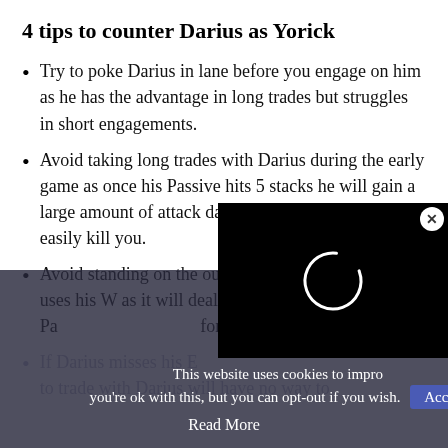4 tips to counter Darius as Yorick
Try to poke Darius in lane before you engage on him as he has the advantage in long trades but struggles in short engagements.
Avoid taking long trades with Darius during the early game as once his Passive hits 5 stacks he will gain a large amount of attack damage and will be able to easily kill you.
Avoid standing on the outer edge of Darius when he uses his W as it will deal damage apply 1 stack of his Passive and heal him for a percentage of his
If Darius misses his E... to trade with Darius will have no way to
This website uses cookies to improve you're ok with this, but you can opt-out if you wish. Accept
Read More